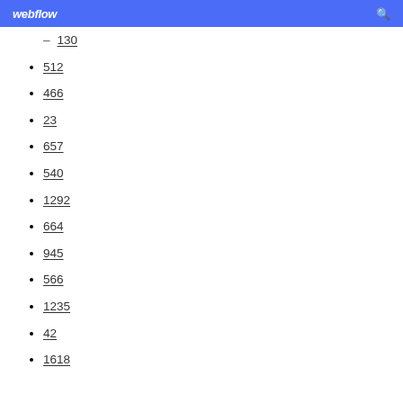webflow
130
512
466
23
657
540
1292
664
945
566
1235
42
1618